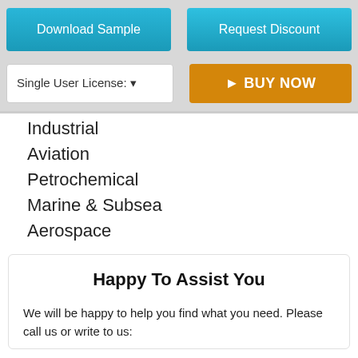[Figure (screenshot): Two buttons: Download Sample (blue) and Request Discount (blue)]
[Figure (screenshot): License selector dropdown 'Single User License' and orange BUY NOW button]
Industrial
Aviation
Petrochemical
Marine & Subsea
Aerospace
Happy To Assist You
We will be happy to help you find what you need. Please call us or write to us: